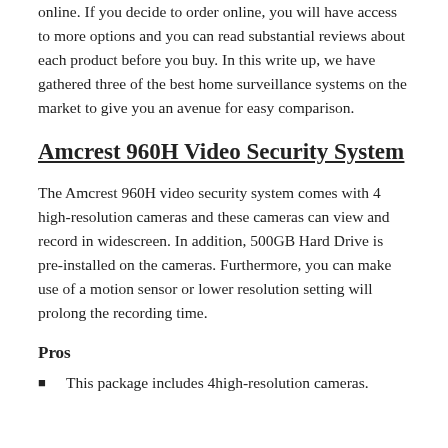online. If you decide to order online, you will have access to more options and you can read substantial reviews about each product before you buy. In this write up, we have gathered three of the best home surveillance systems on the market to give you an avenue for easy comparison.
Amcrest 960H Video Security System
The Amcrest 960H video security system comes with 4 high-resolution cameras and these cameras can view and record in widescreen. In addition, 500GB Hard Drive is pre-installed on the cameras. Furthermore, you can make use of a motion sensor or lower resolution setting will prolong the recording time.
Pros
This package includes 4high-resolution cameras.